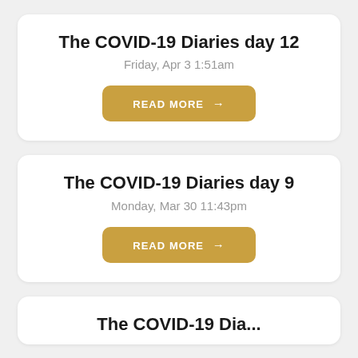The COVID-19 Diaries day 12
Friday, Apr 3 1:51am
READ MORE →
The COVID-19 Diaries day 9
Monday, Mar 30 11:43pm
READ MORE →
The COVID-19 Diaries day...